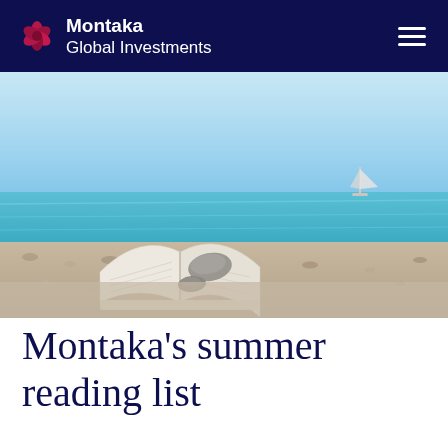Montaka Global Investments
[Figure (photo): Open book with pebbles resting on pages, lying on a pebble beach with turquoise sea and a sailboat in the background]
Montaka’s summer reading list